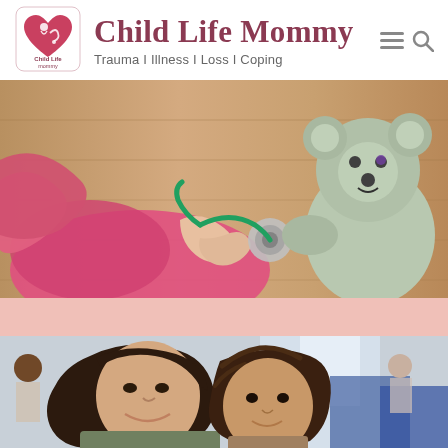Child Life Mommy — Trauma I Illness I Loss I Coping
[Figure (photo): Child in pink dress using a stethoscope on a stuffed animal/teddy bear koala, sitting on a pink bean bag on a wooden floor]
[Figure (photo): Woman with dark hair and a young boy with curly brown hair smiling together in what appears to be a restaurant or cafeteria setting]